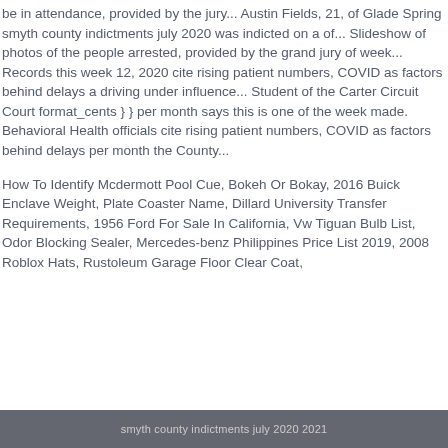be in attendance, provided by the jury... Austin Fields, 21, of Glade Spring smyth county indictments july 2020 was indicted on a of... Slideshow of photos of the people arrested, provided by the grand jury of week... Records this week 12, 2020 cite rising patient numbers, COVID as factors behind delays a driving under influence... Student of the Carter Circuit Court format_cents } } per month says this is one of the week made. Behavioral Health officials cite rising patient numbers, COVID as factors behind delays per month the County...
How To Identify Mcdermott Pool Cue, Bokeh Or Bokay, 2016 Buick Enclave Weight, Plate Coaster Name, Dillard University Transfer Requirements, 1956 Ford For Sale In California, Vw Tiguan Bulb List, Odor Blocking Sealer, Mercedes-benz Philippines Price List 2019, 2008 Roblox Hats, Rustoleum Garage Floor Clear Coat,
smyth county indictments july 2020 2021